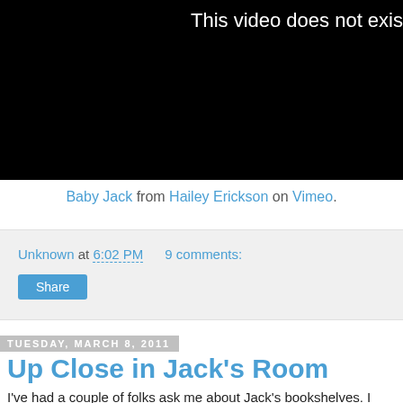[Figure (screenshot): Black video player showing error message 'This video does not exist']
Baby Jack from Hailey Erickson on Vimeo.
Unknown at 6:02 PM   9 comments:
Share
Tuesday, March 8, 2011
Up Close in Jack's Room
I've had a couple of folks ask me about Jack's bookshelves. I